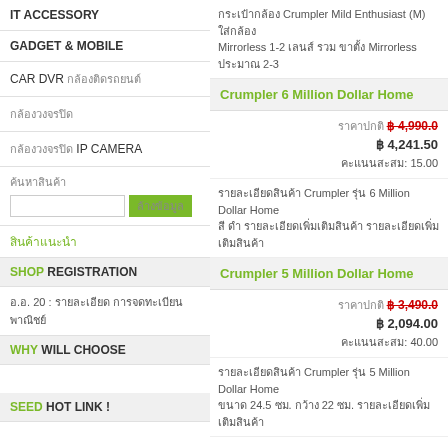IT ACCESSORY
GADGET & MOBILE
CAR DVR กล้องติดรถยนต์
กล้องวงจรปิด
กล้องวงจรปิด IP CAMERA
ค้นหาสินค้า
ล้างข้อมูล
สินค้าแนะนำ
SHOP REGISTRATION
อ.อ. 20 : รายละเอียด การจดทะเบียน พาณิชย์
WHY WILL CHOOSE
SEED HOT LINK !
DELIVERY EXPRESS
กระเป๋ากล้อง Crumpler Mild Enthusiast (M) ใส่กล้อง Mirrorless 1-2 เลนส์ รวม ขาตั้ง Mirrorless ประมาณ 2-3
Crumpler 6 Million Dollar Home
ราคาปกติ ฿ 4,990.00
฿ 4,241.50
คะแนนสะสม: 15.00
รายละเอียดสินค้า Crumpler รุ่น 6 Million Dollar Home สี ดำ รายละเอียดเพิ่มเติมสินค้า รายละเอียดเพิ่มเติมสินค้า
Crumpler 5 Million Dollar Home
ราคาปกติ ฿ 3,490.00
฿ 2,094.00
คะแนนสะสม: 40.00
รายละเอียดสินค้า Crumpler รุ่น 5 Million Dollar Home ขนาด 24.5 ซม. กว้าง 22 ซม. รายละเอียดเพิ่มเติมสินค้า